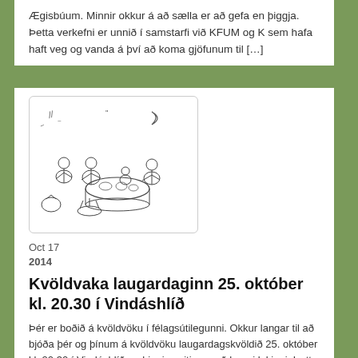Ægisbúum. Minnir okkur á að sælla er að gefa en þiggja. Þetta verkefni er unnið í samstarfi við KFUM og K sem hafa haft veg og vanda á því að koma gjöfunum til […]
[Figure (illustration): Line drawing illustration of people sitting around a table or gathering, with decorative elements in the background including a crescent moon and stars.]
Oct 17
2014
Kvöldvaka laugardaginn 25. október kl. 20.30 í Vindáshlíð
Þér er boðið á kvöldvöku í félagsútilegunni. Okkur langar til að bjóða þér og þínum á kvöldvöku laugardagskvöldið 25. október kl. 20.30 í Vindáshlíð og þiggja veitingar að henni lokinni. Þetta er ekki nema rúmlega hálftíma akstur úr Vesturbænum Smelltu hér til að sjá Vindáshlíð á korti. Sjáumst